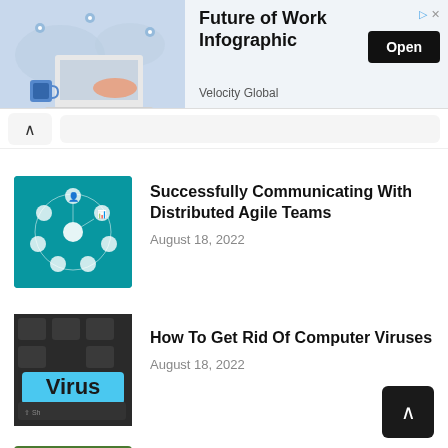[Figure (infographic): Advertisement banner: Future of Work Infographic by Velocity Global with laptop illustration and world map background, Open button]
[Figure (screenshot): Navigation bar with back chevron and search bar]
[Figure (infographic): Teal thumbnail showing distributed agile team network diagram with icons]
Successfully Communicating With Distributed Agile Teams
August 18, 2022
[Figure (photo): Keyboard key with 'Virus' written on it in blue]
How To Get Rid Of Computer Viruses
August 18, 2022
[Figure (photo): Green vegetables and fruits thumbnail]
Sports Nutrition In five Easy Layers
August 18, 2022